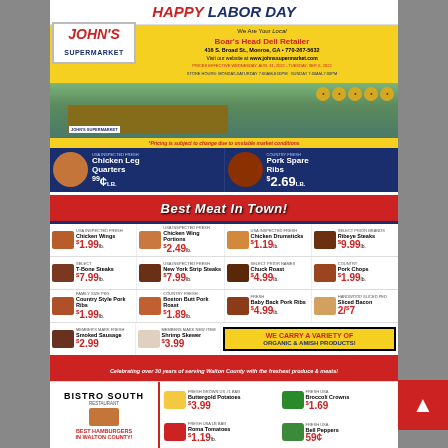HAPPY LABOR DAY
We Are Your Local Boar's Head Deli Retailer
416 S. Broad St., Monroe, GA • 770-267-5632
Visit our website at www.johnssupermarket.com
[Figure (logo): John's Supermarket logo with store building photo]
*Pricing is subject to change due to unstable market conditions
USA INSPECTED FRESH Chicken Leg Quarters 99¢ LB.
COUNTRY FRESH Pork Spare Ribs $2.69 LB.
Best Meat In Town!
Chicken Wings $1.99 lb.
Chicken Wing Portions $2.49 lb.
Chicken Drumsticks $1.19 lb.
Ribeye Steaks $9.99 lb.
T-Bone Steaks $7.99 lb.
New York Strip Steaks $7.99 lb.
Chuck Roast $4.99 lb.
Pork Chops $1.99 lb.
Country Style Pork Ribs $1.99 lb.
Boston Butt Pork Roast $1.89 lb.
Baby Back Pork Ribs $4.99 lb.
Sliced Bacon 2/$7
Smoked Sausage $2.99
Shrimp Skewer $3.99
WE CARRY A VARIETY OF ORGANIC & AMISH PRODUCTS!
Celebrating over 30 years of serving Walton County with the freshest produce & meats!
[Figure (logo): Bistro South Restaurant logo]
BEST HAMBURGERS IN WALTON COUNTY!
Buttergold Potatoes $3.99
Broccoli Crowns $1.69
Roma Tomatoes $1.19 lb.
Bell Peppers 59¢